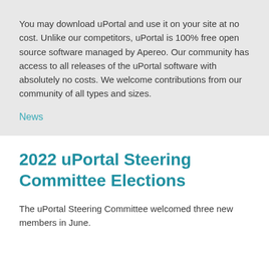You may download uPortal and use it on your site at no cost. Unlike our competitors, uPortal is 100% free open source software managed by Apereo. Our community has access to all releases of the uPortal software with absolutely no costs. We welcome contributions from our community of all types and sizes.
News
2022 uPortal Steering Committee Elections
The uPortal Steering Committee welcomed three new members in June.